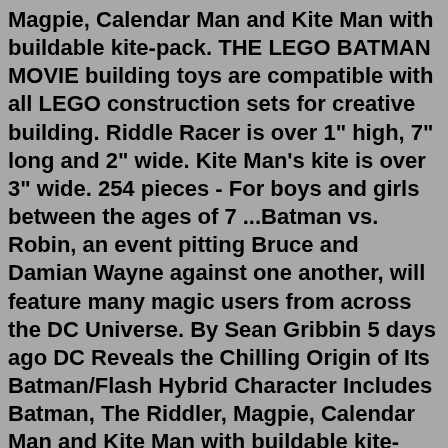Magpie, Calendar Man and Kite Man with buildable kite-pack. THE LEGO BATMAN MOVIE building toys are compatible with all LEGO construction sets for creative building. Riddle Racer is over 1" high, 7" long and 2" wide. Kite Man's kite is over 3" wide. 254 pieces - For boys and girls between the ages of 7 ...Batman vs. Robin, an event pitting Bruce and Damian Wayne against one another, will feature many magic users from across the DC Universe. By Sean Gribbin 5 days ago DC Reveals the Chilling Origin of Its Batman/Flash Hybrid Character Includes Batman, The Riddler, Magpie, Calendar Man and Kite Man with buildable kite-pack. THE LEGO BATMAN MOVIE building toys are compatible with all LEGO construction sets for creative building. Riddle Racer is over 1" high, 7" long and 2" wide. Kite Man's kite is over 3" wide. 254 pieces - For boys and girls between the ages of 7 ...Dive into the DC universe with this LEGO (R) Batman (TM) activity book with everything you need to build your own Batman (TM) minifigure! Join Batman (TM) and his Super Hero